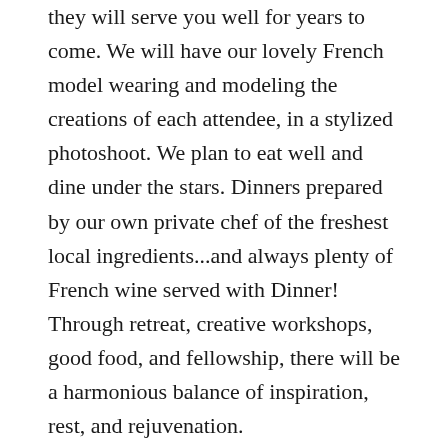they will serve you well for years to come. We will have our lovely French model wearing and modeling the creations of each attendee, in a stylized photoshoot. We plan to eat well and dine under the stars. Dinners prepared by our own private chef of the freshest local ingredients...and always plenty of French wine served with Dinner! Through retreat, creative workshops, good food, and fellowship, there will be a harmonious balance of inspiration, rest, and rejuvenation.
More details of our upcoming journey and itinerary will be available very soon, as the plans are coming together now! To ensure the journey will be enlightening for everyone,we like to keep the trip intimate in size, and attendance is limited to 12